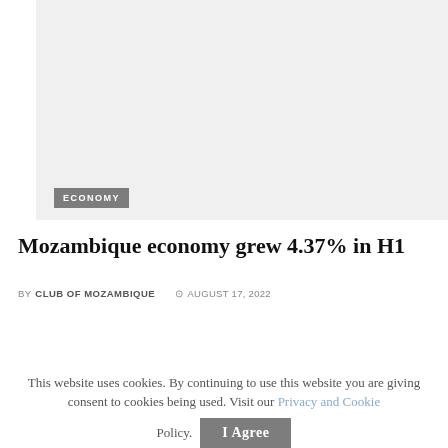[Figure (photo): Large image placeholder area with light gray background, with an ECONOMY category badge overlaid at the bottom left]
Mozambique economy grew 4.37% in H1
BY CLUB OF MOZAMBIQUE  ⊙ AUGUST 17, 2022
This website uses cookies. By continuing to use this website you are giving consent to cookies being used. Visit our Privacy and Cookie Policy.
I Agree